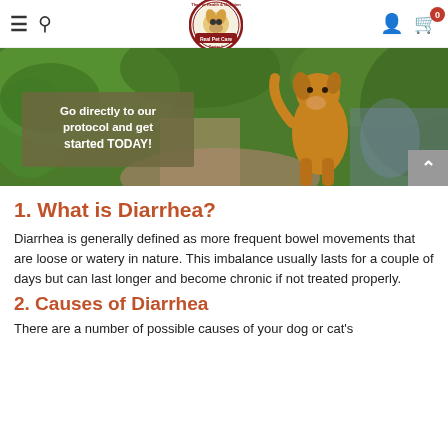Navigation bar with hamburger menu, search icon, Pet Health & Nutrition Center logo, user icon, and cart with 0 items
[Figure (photo): Hero banner showing a golden/tan dog standing on a woodland path surrounded by green foliage and bluebells, with an olive-toned text overlay box reading 'Go directly to our protocol and get started TODAY!' and a back-to-top arrow button at bottom right]
1. What is Diarrhea?
Diarrhea is generally defined as more frequent bowel movements that are loose or watery in nature. This imbalance usually lasts for a couple of days but can last longer and become chronic if not treated properly.
2. Causes of Diarrhea
There are a number of possible causes of your dog or cat's